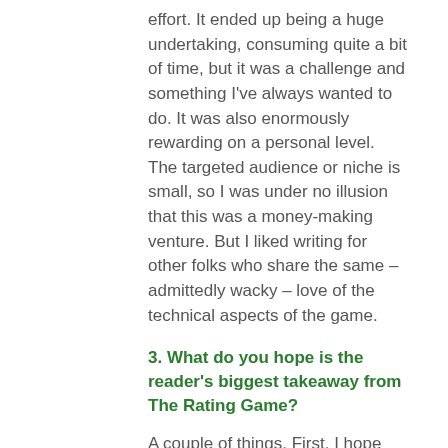effort. It ended up being a huge undertaking, consuming quite a bit of time, but it was a challenge and something I've always wanted to do. It was also enormously rewarding on a personal level. The targeted audience or niche is small, so I was under no illusion that this was a money-making venture. But I liked writing for other folks who share the same – admittedly wacky – love of the technical aspects of the game.
3. What do you hope is the reader's biggest takeaway from The Rating Game?
A couple of things. First, I hope the reader gets an appreciation that once you start putting numbers to golf course quality, there is a math factor that can't be ignored. Processing numbers has rules. If you veer,